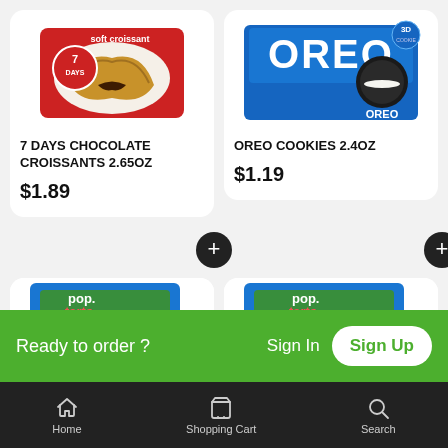[Figure (photo): 7 Days Soft Croissant with chocolate filling product package]
7 DAYS CHOCOLATE CROISSANTS 2.65OZ
$1.89
[Figure (photo): Oreo Cookies 2.4oz blue package]
OREO COOKIES 2.4OZ
$1.19
[Figure (photo): Pop-Tarts package left]
[Figure (photo): Pop-Tarts package right]
Ready to order ?
Sign In
Sign Up
Home   Shopping Cart   Search